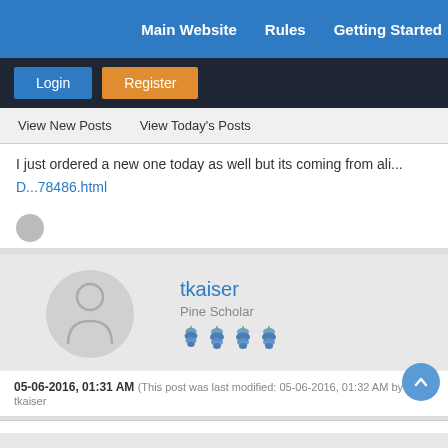Main Website   Rules   Getting Started
Login   Register
View New Posts   View Today's Posts
I just ordered a new one today as well but its coming from ali...
D...78486.html
tkaiser
Pine Scholar
05-06-2016, 01:31 AM (This post was last modified: 05-06-2016, 01:32 AM by tkaiser)